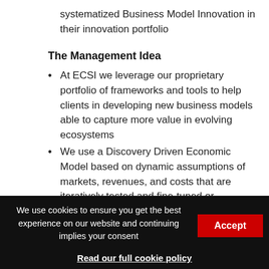systematized Business Model Innovation in their innovation portfolio
The Management Idea
At ECSI we leverage our proprietary portfolio of frameworks and tools to help clients in developing new business models able to capture more value in evolving ecosystems
We use a Discovery Driven Economic Model based on dynamic assumptions of markets, revenues, and costs that are iteratively tested and fine-tuned or
We use cookies to ensure you get the best experience on our website and continuing implies your consent
Read our full cookie policy